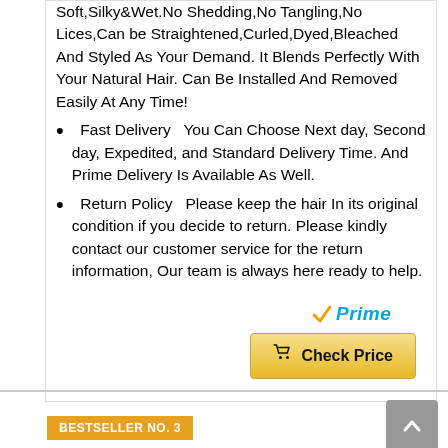Soft,Silky&Wet.No Shedding,No Tangling,No Lices,Can be Straightened,Curled,Dyed,Bleached And Styled As Your Demand. It Blends Perfectly With Your Natural Hair. Can Be Installed And Removed Easily At Any Time!
Fast Delivery   You Can Choose Next day, Second day, Expedited, and Standard Delivery Time. And Prime Delivery Is Available As Well.
Return Policy   Please keep the hair In its original condition if you decide to return. Please kindly contact our customer service for the return information, Our team is always here ready to help.
[Figure (logo): Amazon Prime logo with checkmark and 'Prime' text in blue italic]
Check Price
BESTSELLER NO. 3